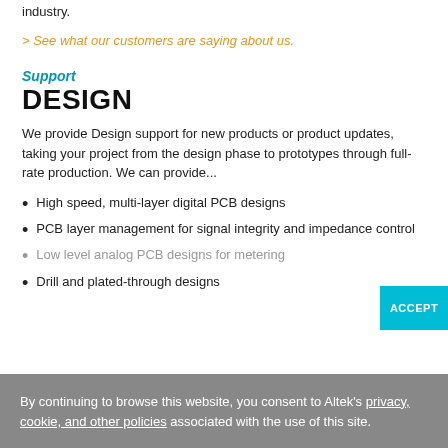industry.
> See what our customers are saying about us.
Support
DESIGN
We provide Design support for new products or product updates, taking your project from the design phase to prototypes through full-rate production. We can provide...
High speed, multi-layer digital PCB designs
PCB layer management for signal integrity and impedance control
Low level analog PCB designs for metering
Drill and plated-through designs
By continuing to browse this website, you consent to Altek's privacy, cookie, and other policies associated with the use of this site.